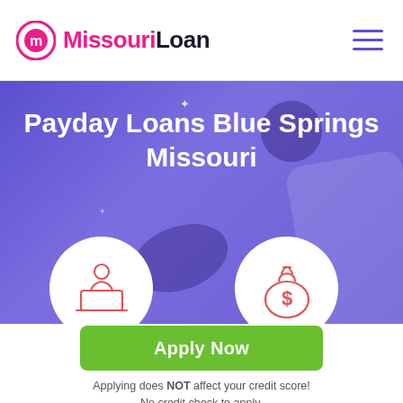MissouriLoan
[Figure (illustration): Purple/violet hero banner with title 'Payday Loans Blue Springs Missouri', decorative blobs, a phone shape, sparkle stars, and two white circle icons — one showing a person at a laptop and one showing a money bag with dollar sign, both outlined in red/coral.]
Payday Loans Blue Springs Missouri
Apply Now
Applying does NOT affect your credit score!
No credit check to apply.